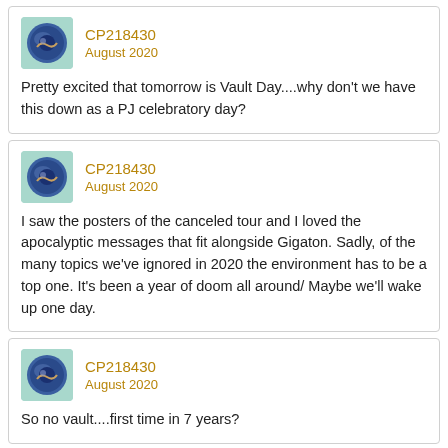CP218430
August 2020

Pretty excited that tomorrow is Vault Day....why don't we have this down as a PJ celebratory day?
CP218430
August 2020

I saw the posters of the canceled tour and I loved the apocalyptic messages that fit alongside Gigaton. Sadly, of the many topics we've ignored in 2020 the environment has to be a top one. It's been a year of doom all around/ Maybe we'll wake up one day.
CP218430
August 2020

So no vault....first time in 7 years?